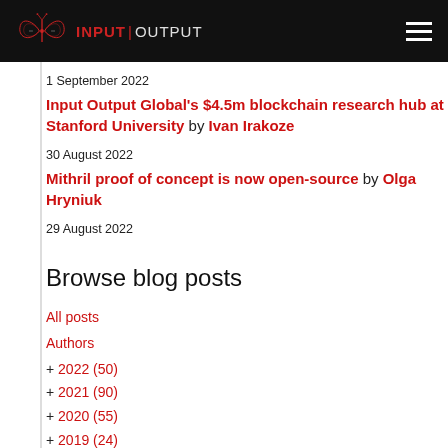INPUT | OUTPUT
1 September 2022
Input Output Global's $4.5m blockchain research hub at Stanford University by Ivan Irakoze
30 August 2022
Mithril proof of concept is now open-source by Olga Hryniuk
29 August 2022
Browse blog posts
All posts
Authors
+ 2022 (50)
+ 2021 (90)
+ 2020 (55)
+ 2019 (24)
+ 2018 (37)